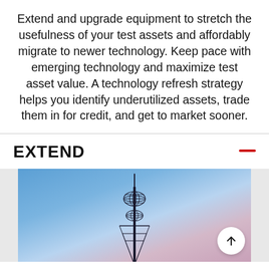Extend and upgrade equipment to stretch the usefulness of your test assets and affordably migrate to newer technology. Keep pace with emerging technology and maximize test asset value. A technology refresh strategy helps you identify underutilized assets, trade them in for credit, and get to market sooner.
EXTEND
[Figure (photo): A telecommunications tower or antenna mast photographed against a blue-to-purple gradient sky background, with a circular scroll-to-top arrow button in the lower right.]